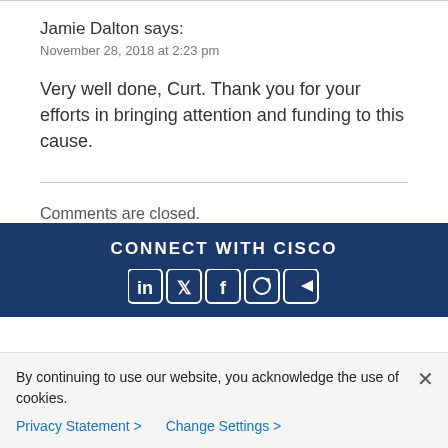Jamie Dalton says:
November 28, 2018 at 2:23 pm
Very well done, Curt. Thank you for your efforts in bringing attention and funding to this cause.
Comments are closed.
CONNECT WITH CISCO
[Figure (infographic): Social media icons: LinkedIn, Twitter, Facebook, Instagram, YouTube]
By continuing to use our website, you acknowledge the use of cookies.
Privacy Statement > Change Settings >